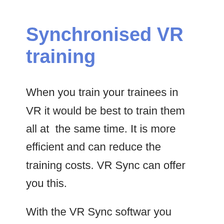Synchronised VR training
When you train your trainees in VR it would be best to train them all at  the same time. It is more efficient and can reduce the training costs. VR Sync can offer you this.
With the VR Sync softwar you